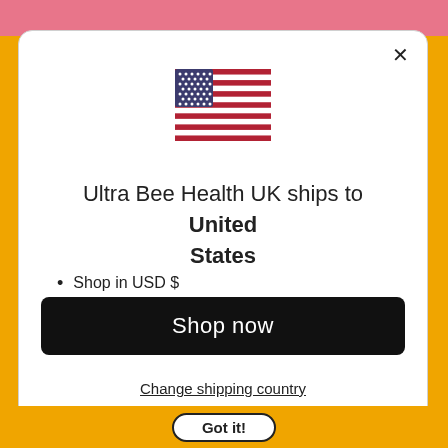[Figure (illustration): US flag emoji/icon centered at top of modal]
Ultra Bee Health UK ships to United States
Shop in USD $
Get shipping options for United States
Shop now
Change shipping country
Got it!